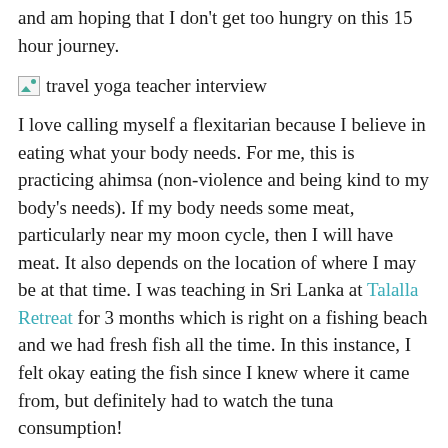and am hoping that I don't get too hungry on this 15 hour journey.
[Figure (photo): travel yoga teacher interview placeholder image]
I love calling myself a flexitarian because I believe in eating what your body needs. For me, this is practicing ahimsa (non-violence and being kind to my body's needs). If my body needs some meat, particularly near my moon cycle, then I will have meat. It also depends on the location of where I may be at that time. I was teaching in Sri Lanka at Talalla Retreat for 3 months which is right on a fishing beach and we had fresh fish all the time. In this instance, I felt okay eating the fish since I knew where it came from, but definitely had to watch the tuna consumption!
At the same time, I have also found many places to be vegetarian-friendly and often seek out vegetarian/vegan restaurants while I travel. I have a soft spot for veggie burgers and love trying all the